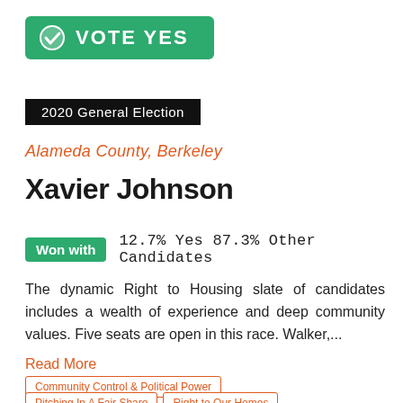[Figure (logo): Green 'VOTE YES' banner with white checkmark icon]
2020 General Election
Alameda County, Berkeley
Xavier Johnson
Won with   12.7% Yes 87.3% Other Candidates
The dynamic Right to Housing slate of candidates includes a wealth of experience and deep community values. Five seats are open in this race. Walker,...
Read More
Community Control & Political Power
Pitching In A Fair Share   Right to Our Homes